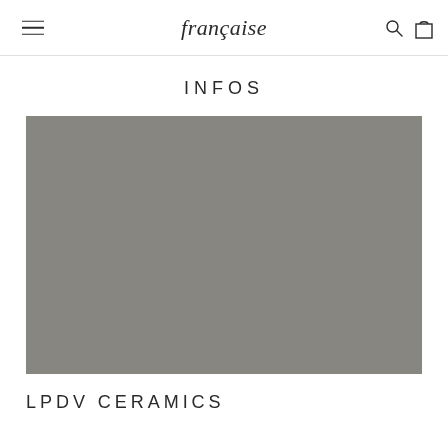française
INFOS
[Figure (photo): Gray placeholder image block for ceramics product photo]
LPDV CERAMICS